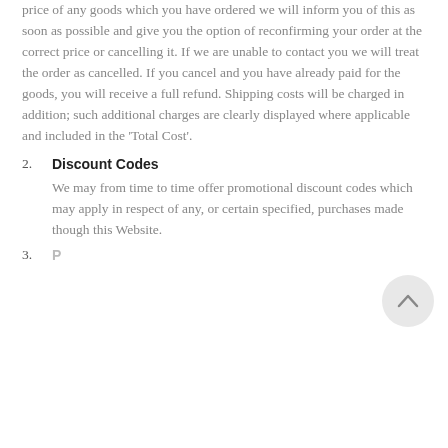price of any goods which you have ordered we will inform you of this as soon as possible and give you the option of reconfirming your order at the correct price or cancelling it. If we are unable to contact you we will treat the order as cancelled. If you cancel and you have already paid for the goods, you will receive a full refund. Shipping costs will be charged in addition; such additional charges are clearly displayed where applicable and included in the 'Total Cost'.
2. Discount Codes
We may from time to time offer promotional discount codes which may apply in respect of any, or certain specified, purchases made though this Website.